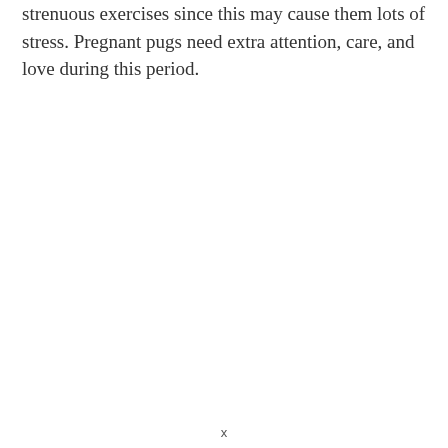strenuous exercises since this may cause them lots of stress. Pregnant pugs need extra attention, care, and love during this period.
x